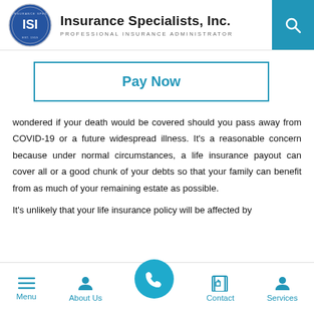Insurance Specialists, Inc. PROFESSIONAL INSURANCE ADMINISTRATOR
Pay Now
wondered if your death would be covered should you pass away from COVID-19 or a future widespread illness. It's a reasonable concern because under normal circumstances, a life insurance payout can cover all or a good chunk of your debts so that your family can benefit from as much of your remaining estate as possible.
It's unlikely that your life insurance policy will be affected by
Menu  About Us  Contact  Services